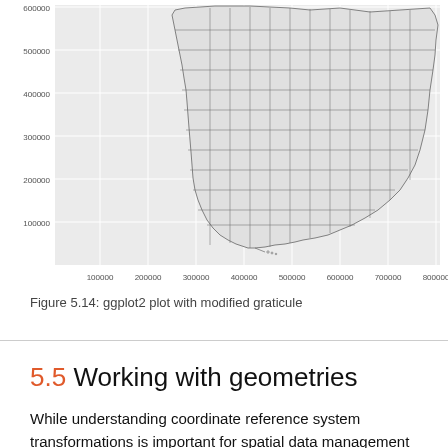[Figure (map): A ggplot2 map of Florida counties with modified graticule. The map shows Florida's outline with county boundaries on a light gray gridded background. Y-axis labels: 100000, 200000, 300000, 400000, 500000, 600000. X-axis labels: 100000, 200000, 300000, 400000, 500000, 600000, 700000, 800000.]
Figure 5.14: ggplot2 plot with modified graticule
5.5 Working with geometries
While understanding coordinate reference system transformations is important for spatial data management